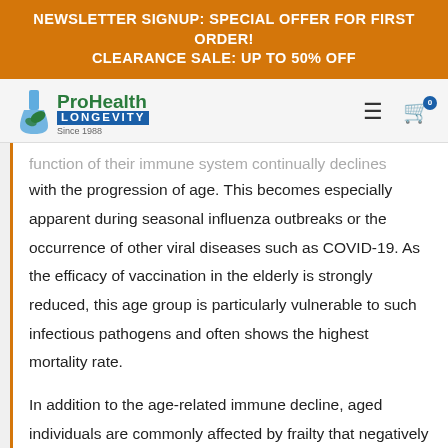NEWSLETTER SIGNUP: SPECIAL OFFER FOR FIRST ORDER! CLEARANCE SALE: UP TO 50% OFF
[Figure (logo): ProHealth Longevity logo with flask/leaf icon, green and blue text, Since 1988]
function of their immune system continually declines with the progression of age. This becomes especially apparent during seasonal influenza outbreaks or the occurrence of other viral diseases such as COVID-19. As the efficacy of vaccination in the elderly is strongly reduced, this age group is particularly vulnerable to such infectious pathogens and often shows the highest mortality rate.
In addition to the age-related immune decline, aged individuals are commonly affected by frailty that negatively impacts quality-of-life. Even though the average life expectancy for humans continues to rise,